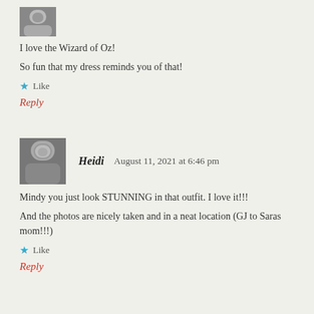[Figure (photo): Small avatar photo in grayscale at top left]
I love the Wizard of Oz!
So fun that my dress reminds you of that!
★ Like
Reply
[Figure (photo): Grayscale avatar photo of Heidi]
Heidi   August 11, 2021 at 6:46 pm
Mindy you just look STUNNING in that outfit. I love it!!! And the photos are nicely taken and in a neat location (GJ to Saras mom!!!)
★ Like
Reply